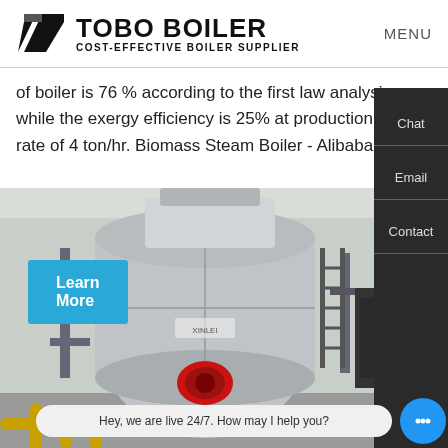[Figure (logo): Tobo Boiler logo with geometric icon and text TOBO BOILER / COST-EFFECTIVE BOILER SUPPLIER]
MENU
of boiler is 76 % according to the first law analysis while the exergy efficiency is 25% at production steam rate of 4 ton/hr. Biomass Steam Boiler - Alibaba
[Figure (photo): Industrial steam boiler in an indoor facility with grey cylindrical body, red burner, and associated piping and equipment]
Chat
Email
Contact
Hey, we are live 24/7. How may I help you?